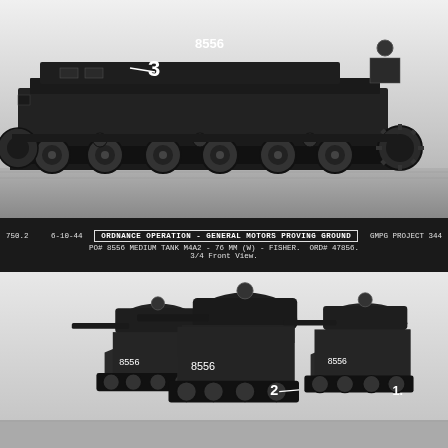[Figure (photo): Black and white photograph showing a side view of Medium Tank M4A2 (Sherman), number 8556, with number '3' marked. Shows the tank's full profile with tracks, road wheels, drive sprocket, and hull. Taken at General Motors Proving Ground, dated 6-10-44.]
750.2   6-10-44   ORDNANCE OPERATION - GENERAL MOTORS PROVING GROUND   GMPG PROJECT 344
PO# 8556 MEDIUM TANK M4A2 - 76 MM (W) - FISHER. ORD# 47856.
3/4 Front View.
[Figure (photo): Black and white photograph showing a 3/4 front view of three Medium Tank M4A2 units numbered 8556, with numbers 1, 2, and 3 marked on the tanks. Shows the turret with 76mm gun, hull front, and tracks. Taken at General Motors Proving Ground.]